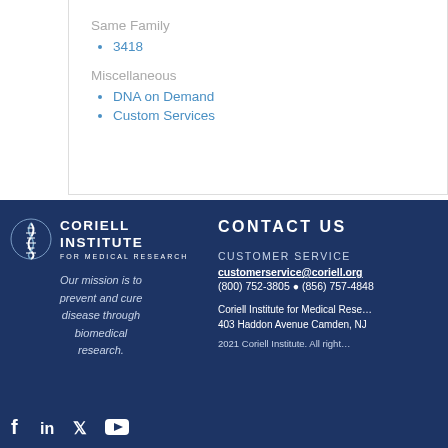Same Family
3418
Miscellaneous
DNA on Demand
Custom Services
[Figure (logo): Coriell Institute for Medical Research logo with DNA helix icon]
Our mission is to prevent and cure disease through biomedical research.
CONTACT US
CUSTOMER SERVICE
customerservice@coriell.org
(800) 752-3805 • (856) 757-4848
Coriell Institute for Medical Research 403 Haddon Avenue Camden, NJ
2021 Coriell Institute. All rights reserved.
[Figure (other): Social media icons: Facebook, LinkedIn, Twitter, YouTube]